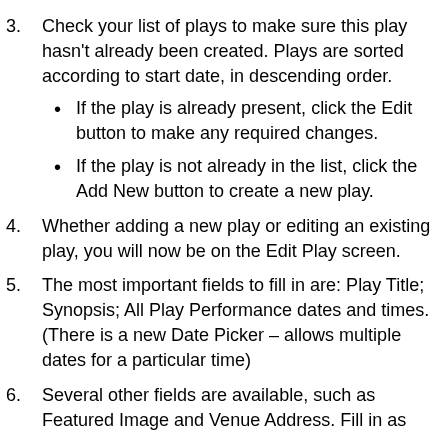3. Check your list of plays to make sure this play hasn't already been created. Plays are sorted according to start date, in descending order.
If the play is already present, click the Edit button to make any required changes.
If the play is not already in the list, click the Add New button to create a new play.
4. Whether adding a new play or editing an existing play, you will now be on the Edit Play screen.
5. The most important fields to fill in are: Play Title; Synopsis; All Play Performance dates and times.
(There is a new Date Picker – allows multiple dates for a particular time)
6. Several other fields are available, such as Featured Image and Venue Address. Fill in as